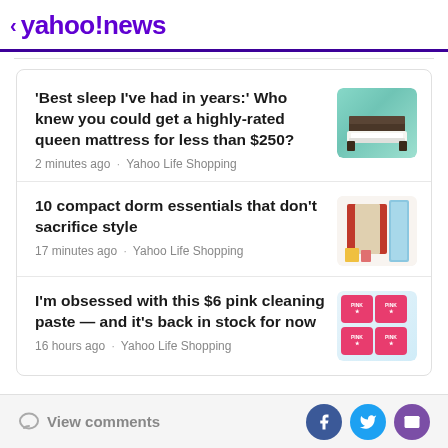< yahoo!news
'Best sleep I've had in years:' Who knew you could get a highly-rated queen mattress for less than $250?
2 minutes ago · Yahoo Life Shopping
10 compact dorm essentials that don't sacrifice style
17 minutes ago · Yahoo Life Shopping
I'm obsessed with this $6 pink cleaning paste — and it's back in stock for now
16 hours ago · Yahoo Life Shopping
View comments